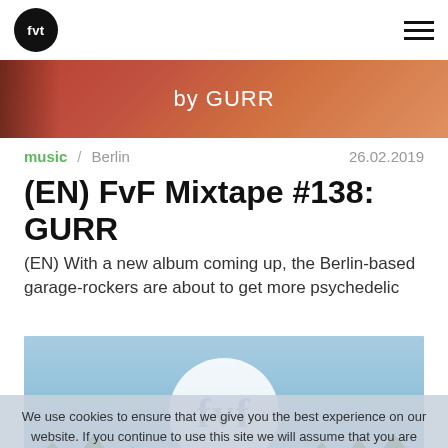fvt  [hamburger menu]
[Figure (photo): Top banner image showing 'by GURR' text over a warm-toned photo background]
music  Berlin  26.02.2019
(EN) FvF Mixtape #138: GURR
(EN) With a new album coming up, the Berlin-based garage-rockers are about to get more psychedelic
[Figure (photo): Outdoor photo with trees against blue sky, FvF circular logo overlay in center, people visible at bottom. Cookie consent overlay covers lower portion.]
We use cookies to ensure that we give you the best experience on our website. If you continue to use this site we will assume that you are happy with it.
Freunde von Freunden  www.fvf.com  Ok